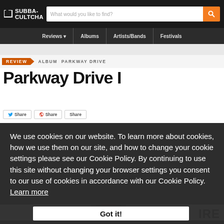SUBBA-CULTCHA | What would you like to find?
Reviews | Albums | Artists/Bands | Festivals
REVIEW  ALBUM  PARKWAY DRIVE
Parkway Drive I...
We use cookies on our website. To learn more about cookies, how we use them on our site, and how to change your cookie settings please see our Cookie Policy. By continuing to use this site without changing your browser settings you consent to our use of cookies in accordance with our Cookie Policy. Learn more
Got it!
IRE